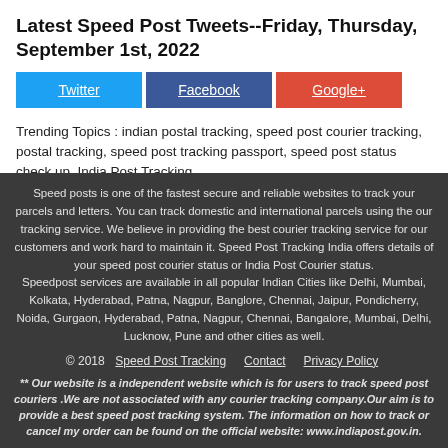Latest Speed Post Tweets--Friday, Thursday, September 1st, 2022
[Figure (other): Social sharing buttons: Twitter (blue), Facebook (dark blue), Google+ (red)]
Trending Topics : indian postal tracking, speed post courier tracking, postal tracking, speed post tracking passport, speed post status check up, India Post Tracking
Last Updated : Today
Speed posts is one of the fastest secure and reliable websites to track your parcels and letters. You can track domestic and international parcels using the our tracking service. We believe in providing the best courier tracking service for our customers and work hard to maintain it. Speed Post Tracking India offers details of your speed post courier status or India Post Courier status.
Speedpost services are available in all popular Indian Cities like Delhi, Mumbai, Kolkata, Hyderabad, Patna, Nagpur, Banglore, Chennai, Jaipur, Pondicherry, Noida, Gurgaon, Hyderabad, Patna, Nagpur, Chennai, Bangalore, Mumbai, Delhi, Lucknow, Pune and other cities as well.
© 2018  Speed Post Tracking   Contact   Privacy Policy
** Our website is a independent website which is for users to track speed post couriers .We are not associated with any courier tracking company.Our aim is to provide a best speed post tracking system. The information on how to track or cancel my order can be found on the official website: www.indiapost.gov.in.